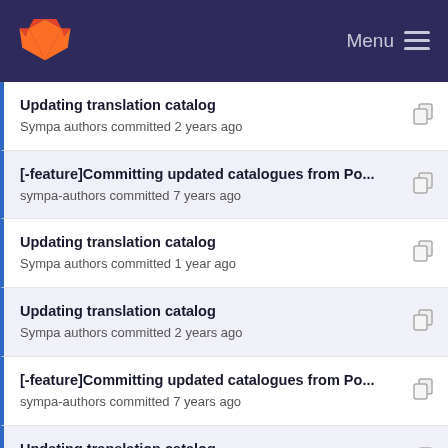Menu
Updating translation catalog — Sympa authors committed 2 years ago
[-feature]Committing updated catalogues from Po... — sympa-authors committed 7 years ago
Updating translation catalog — Sympa authors committed 1 year ago
Updating translation catalog — Sympa authors committed 2 years ago
[-feature]Committing updated catalogues from Po... — sympa-authors committed 7 years ago
Updating translation catalog — Sympa authors committed 1 year ago
[-feature] Committing latest translations from tran... — Sympa authors committed 5 years ago
Updating translation catalog